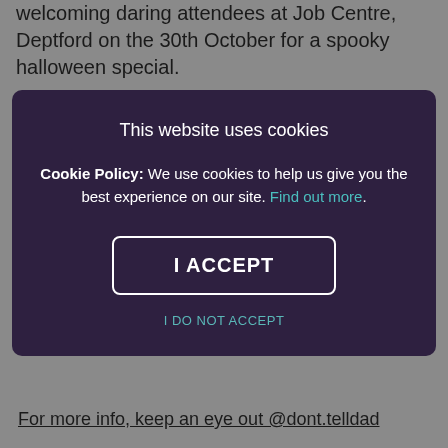welcoming daring attendees at Job Centre, Deptford on the 30th October for a spooky halloween special. Costumes are highly encouraged and all games will leave
[Figure (screenshot): Cookie consent modal overlay with dark purple background. Title: 'This website uses cookies'. Body: 'Cookie Policy: We use cookies to help us give you the best experience on our site. Find out more.' Button: 'I ACCEPT'. Link: 'I DO NOT ACCEPT'.]
For more info, keep an eye out @dont.telldad